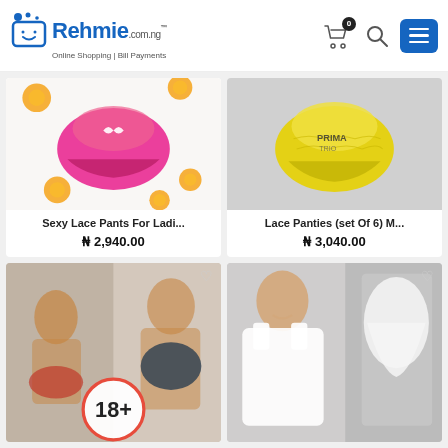[Figure (logo): Rehmie.com.ng logo with shopping cart icon. Tagline: Online Shopping | Bill Payments]
[Figure (screenshot): E-commerce product grid showing 4 lingerie/underwear products. Top-left: 'Sexy Lace Pants For Ladi...' priced ₦ 2,940.00 with pink panties image. Top-right: 'Lace Panties (set Of 6) M...' priced ₦ 3,040.00 with yellow panties image. Bottom-left: product with 18+ badge. Bottom-right: men's white undershirt product.]